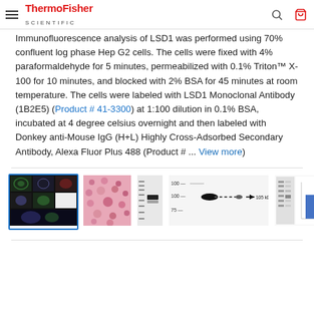ThermoFisher SCIENTIFIC
Immunofluorescence analysis of LSD1 was performed using 70% confluent log phase Hep G2 cells. The cells were fixed with 4% paraformaldehyde for 5 minutes, permeabilized with 0.1% Triton™ X-100 for 10 minutes, and blocked with 2% BSA for 45 minutes at room temperature. The cells were labeled with LSD1 Monoclonal Antibody (1B2E5) (Product # 41-3300) at 1:100 dilution in 0.1% BSA, incubated at 4 degree celsius overnight and then labeled with Donkey anti-Mouse IgG (H+L) Highly Cross-Adsorbed Secondary Antibody, Alexa Fluor Plus 488 (Product # ... View more
[Figure (photo): Five product image thumbnails showing immunofluorescence microscopy images, tissue staining, western blot strips, and bar chart data]
[Figure (photo): Pink tissue stain microscopy image]
[Figure (photo): Western blot strip image]
[Figure (photo): Western blot showing bands at 100 and 75 kDa with 105 kDa arrow label]
[Figure (bar-chart): Small bar chart with two blue bars on white background with gel image]